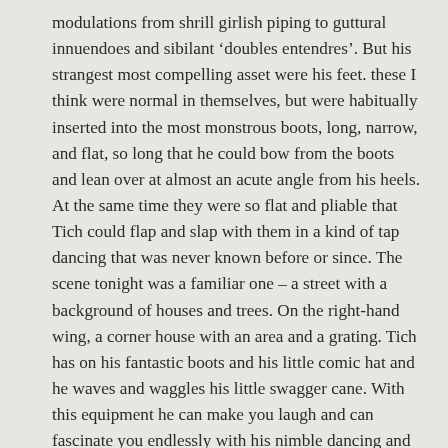modulations from shrill girlish piping to guttural innuendoes and sibilant ‘doubles entendres’. But his strangest most compelling asset were his feet. these I think were normal in themselves, but were habitually inserted into the most monstrous boots, long, narrow, and flat, so long that he could bow from the boots and lean over at almost an acute angle from his heels. At the same time they were so flat and pliable that Tich could flap and slap with them in a kind of tap dancing that was never known before or since. The scene tonight was a familiar one – a street with a background of houses and trees. On the right-hand wing, a corner house with an area and a grating. Tich has on his fantastic boots and his little comic hat and he waves and waggles his little swagger cane. With this equipment he can make you laugh and can fascinate you endlessly with his nimble dancing and twittering songs. Presently he will inadvertently hit his long boot with his cane and his surprise and pain will be unbearably funny. Suddenly he sees the grating. At once the gay, innocent comic becomes a mischievous little monster, all leers and terrible chuckles. Turning his back he leans over his boots – which is funny enough in itself – he peers through the grating and begins to show signs of